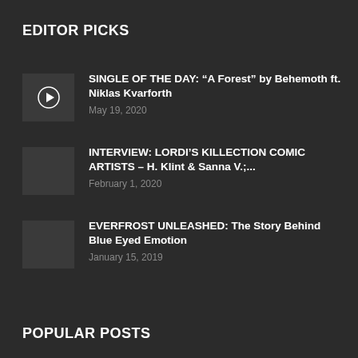EDITOR PICKS
SINGLE OF THE DAY: “A Forest” by Behemoth ft. Niklas Kvarforth
INTERVIEW: LORDI’S KILLECTION COMIC ARTISTS – H. Klint & Sanna V.;...
EVERFROST UNLEASHED: The Story Behind Blue Eyed Emotion
POPULAR POSTS